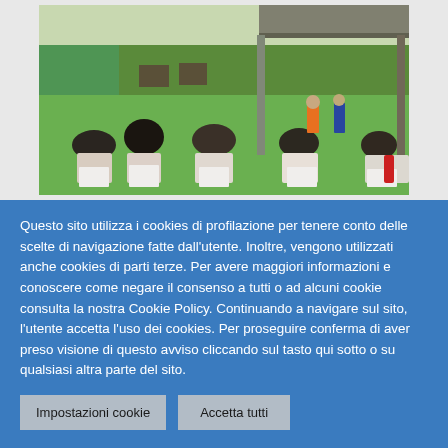[Figure (photo): Outdoor shooting range scene: people seated in white chairs viewed from behind, watching athletes at a green grassy range with trees and targets in the distance. Covered pavilion/shed structure visible.]
Questo sito utilizza i cookies di profilazione per tenere conto delle scelte di navigazione fatte dall'utente. Inoltre, vengono utilizzati anche cookies di parti terze. Per avere maggiori informazioni e conoscere come negare il consenso a tutti o ad alcuni cookie consulta la nostra Cookie Policy. Continuando a navigare sul sito, l'utente accetta l'uso dei cookies. Per proseguire conferma di aver preso visione di questo avviso cliccando sul tasto qui sotto o su qualsiasi altra parte del sito.
Impostazioni cookie
Accetta tutti